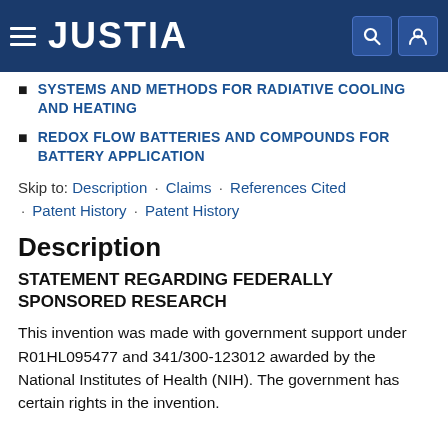JUSTIA
SYSTEMS AND METHODS FOR RADIATIVE COOLING AND HEATING
REDOX FLOW BATTERIES AND COMPOUNDS FOR BATTERY APPLICATION
Skip to: Description · Claims · References Cited · Patent History · Patent History
Description
STATEMENT REGARDING FEDERALLY SPONSORED RESEARCH
This invention was made with government support under R01HL095477 and 341/300-123012 awarded by the National Institutes of Health (NIH). The government has certain rights in the invention.